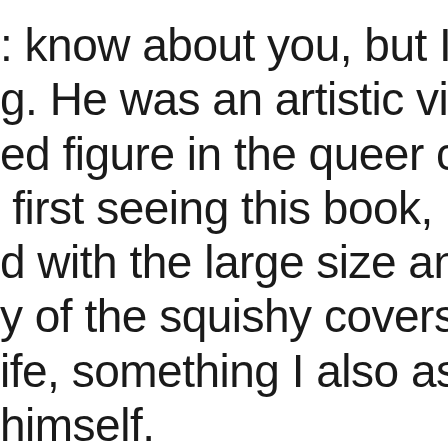know about you, but I love Ke g. He was an artistic visionary ed figure in the queer commun first seeing this book, I was so d with the large size and the y of the squishy covers! It's larg ife, something I also associate himself.
ory follows Keith's life as an ar child up until his death at ag